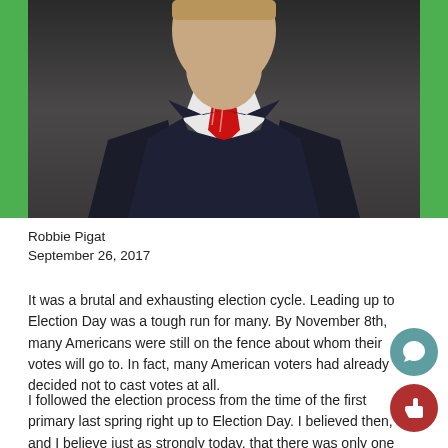[Figure (photo): Photo of a man in a dark suit with a red striped tie, shown from chest up, dark background]
Robbie Pigat
September 26, 2017
It was a brutal and exhausting election cycle. Leading up to Election Day was a tough run for many. By November 8th, many Americans were still on the fence about whom their votes will go to. In fact, many American voters had already decided not to cast votes at all.
I followed the election process from the time of the first primary last spring right up to Election Day. I believed then, and I believe just as strongly today, that there was only one candidate who has consistently shown real